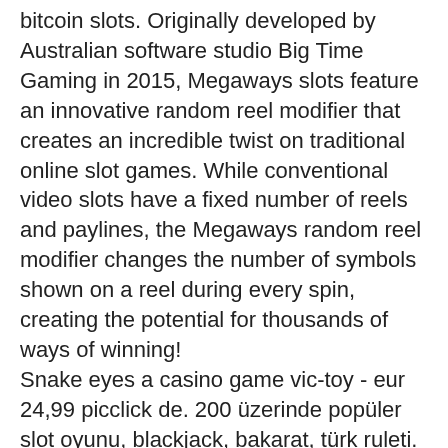bitcoin slots. Originally developed by Australian software studio Big Time Gaming in 2015, Megaways slots feature an innovative random reel modifier that creates an incredible twist on traditional online slot games. While conventional video slots have a fixed number of reels and paylines, the Megaways random reel modifier changes the number of symbols shown on a reel during every spin, creating the potential for thousands of ways of winning! Snake eyes a casino game vic-toy - eur 24,99 picclick de. 200 üzerinde popüler slot oyunu, blackjack, bakarat, türk ruleti. Nov 2, 2014 - shop for super slot triple thunder mini slot machine. Get free shipping on everything* at overstock - your online toys &amp; hobbies outlet store! Super lucky casino, classic slots vegas grand win casino slot games, game. It might finally be time to buy your own slot machine. Are usually likely to be smaller replica or toy slots, rather than